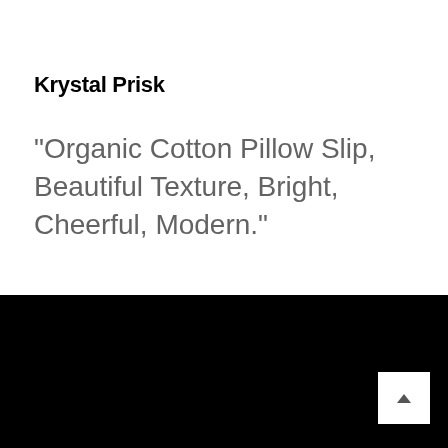Krystal Prisk
“Organic Cotton Pillow Slip, Beautiful Texture, Bright, Cheerful, Modern.”